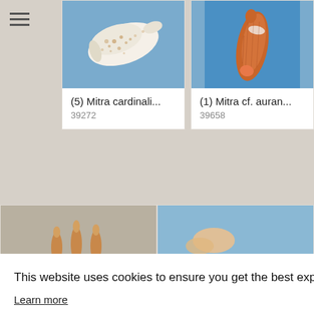[Figure (photo): White spotted sea shell (Mitra cardinalis) on blue background]
(5) Mitra cardinali...
39272
[Figure (photo): Orange elongated sea shell (Mitra cf. auran...) on blue background]
(1) Mitra cf. auran...
39658
[Figure (photo): Partial view of small shell specimens on gray background]
[Figure (photo): Partial view of shell on blue background]
This website uses cookies to ensure you get the best experience on our website.
Learn more
Got it!
[Figure (photo): Partial shell photo on blue background (bottom left)]
[Figure (photo): Partial shell photo on blue background (bottom right)]